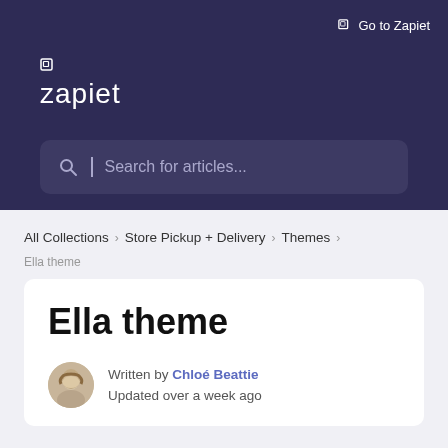Go to Zapiet
[Figure (logo): Zapiet logo with icon and wordmark in white on dark navy background]
Search for articles...
All Collections > Store Pickup + Delivery > Themes
Ella theme
Ella theme
Written by Chloé Beattie
Updated over a week ago